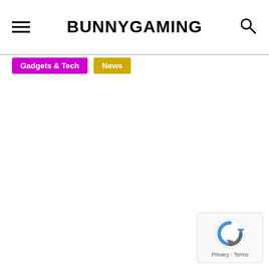BUNNYGAMING
Gadgets & Tech
News
[Figure (logo): reCAPTCHA privacy badge with circular arrow logo and Privacy - Terms text]